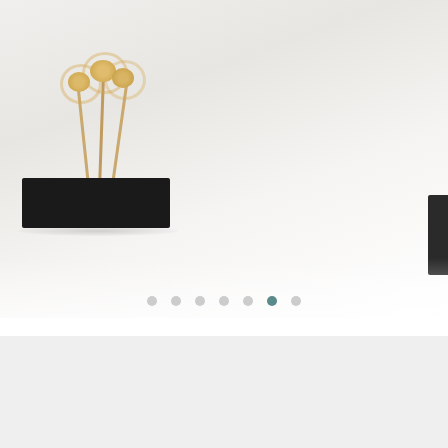[Figure (photo): Product photo of a black rectangular vase/block with dried yellow flowers, on a white surface. Carousel image with navigation dots below.]
Francesca Sykes
Bloom After Burning Vase -